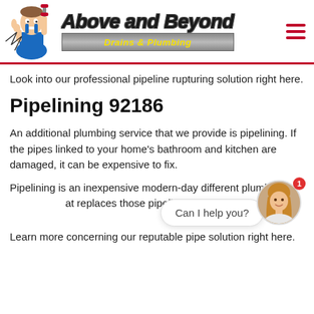[Figure (logo): Above and Beyond Drains & Plumbing logo with cartoon plumber mascot holding a wrench]
Look into our professional pipeline rupturing solution right here.
Pipelining 92186
An additional plumbing service that we provide is pipelining. If the pipes linked to your home's bathroom and kitchen are damaged, it can be expensive to fix.
Pipelining is an inexpensive modern-day different plumbing that replaces those pipelines.
[Figure (screenshot): Chat widget bubble saying 'Can I help you?' with a circular avatar photo of a woman with a red notification badge showing 1]
Learn more concerning our reputable pipe solution right here.